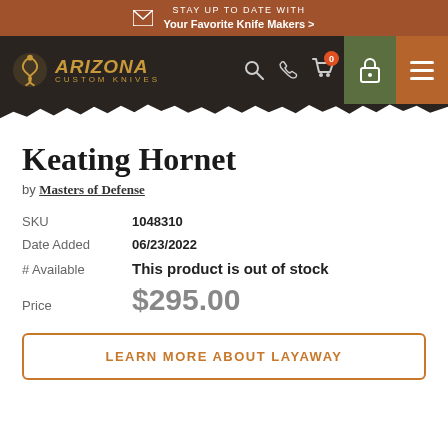STAY UP TO DATE WITH Your Favorite Knife Makers >
[Figure (screenshot): Arizona Custom Knives navigation bar with logo, search, phone, cart (0), lock, and hamburger menu icons]
Keating Hornet
by Masters of Defense
| Field | Value |
| --- | --- |
| SKU | 1048310 |
| Date Added | 06/23/2022 |
| # Available | This product is out of stock |
| Price | $295.00 |
LEARN MORE ABOUT LAYAWAY